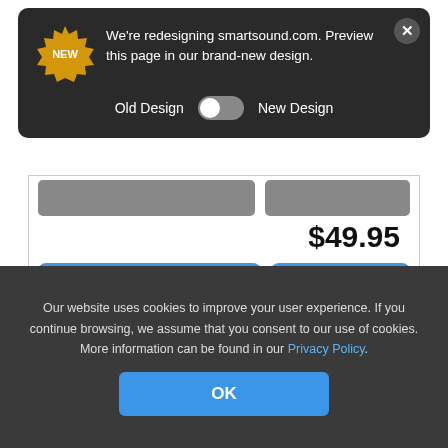[Figure (screenshot): Dark popup notification banner saying 'We're redesigning smartsound.com. Preview this page in our brand-new design.' with a NEW badge icon, a toggle switch between Old Design and New Design, and an X close button.]
$49.95
Add Track To Playlist
Buy Now
BRIDAL MARCH PIANO
Album: Wedding Classics
Our website uses cookies to improve your user experience. If you continue browsing, we assume that you consent to our use of cookies. More information can be found in our Privacy Policy.
OK